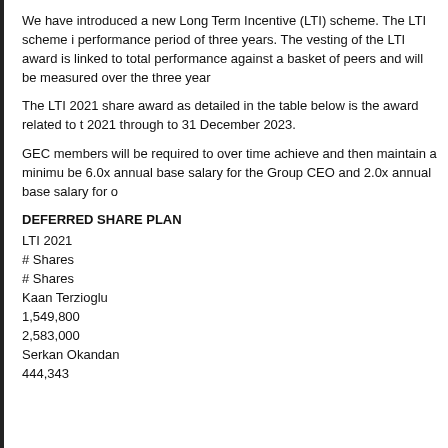We have introduced a new Long Term Incentive (LTI) scheme. The LTI scheme is performance period of three years. The vesting of the LTI award is linked to total performance against a basket of peers and will be measured over the three years.
The LTI 2021 share award as detailed in the table below is the award related to 2021 through to 31 December 2023.
GEC members will be required to over time achieve and then maintain a minimum be 6.0x annual base salary for the Group CEO and 2.0x annual base salary for o
DEFERRED SHARE PLAN
LTI 2021
# Shares
# Shares
Kaan Terzioglu
1,549,800
2,583,000
Serkan Okandan
444,343